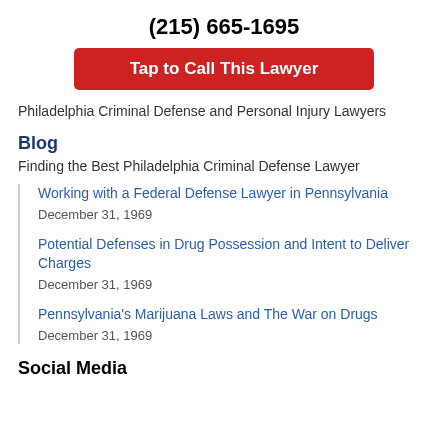(215) 665-1695
Tap to Call This Lawyer
Philadelphia Criminal Defense and Personal Injury Lawyers
Blog
Finding the Best Philadelphia Criminal Defense Lawyer
Working with a Federal Defense Lawyer in Pennsylvania
December 31, 1969
Potential Defenses in Drug Possession and Intent to Deliver Charges
December 31, 1969
Pennsylvania's Marijuana Laws and The War on Drugs
December 31, 1969
Social Media